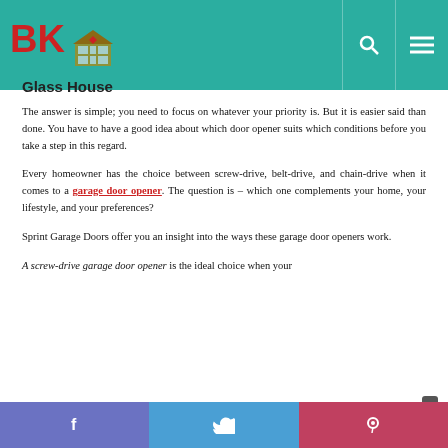BK Glass House
The answer is simple; you need to focus on whatever your priority is. But it is easier said than done. You have to have a good idea about which door opener suits which conditions before you take a step in this regard.
Every homeowner has the choice between screw-drive, belt-drive, and chain-drive when it comes to a garage door opener. The question is – which one complements your home, your lifestyle, and your preferences?
Sprint Garage Doors offer you an insight into the ways these garage door openers work.
A screw-drive garage door opener is the ideal choice when your